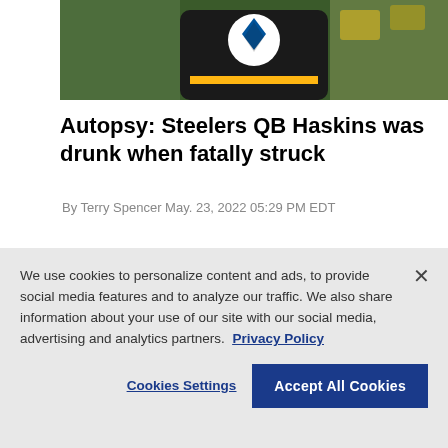[Figure (photo): Top portion of a photo showing a Pittsburgh Steelers player in dark jersey with the Steelers logo visible on the helmet/chest area, yellow stripe visible]
Autopsy: Steelers QB Haskins was drunk when fatally struck
By Terry Spencer May. 23, 2022 05:29 PM EDT
[Figure (photo): Photo of a man (head partially visible) at New Era Field stadium with blue stadium seats visible in the background and a New Era Field sign in the upper left]
We use cookies to personalize content and ads, to provide social media features and to analyze our traffic. We also share information about your use of our site with our social media, advertising and analytics partners.  Privacy Policy
Cookies Settings   Accept All Cookies